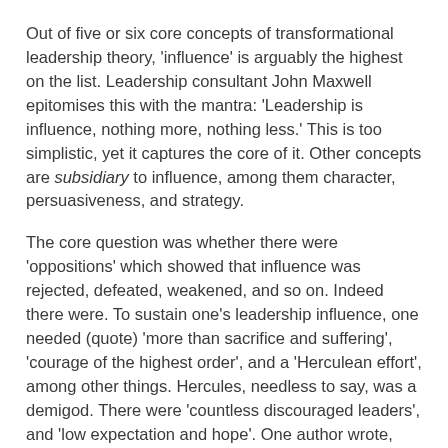Out of five or six core concepts of transformational leadership theory, 'influence' is arguably the highest on the list. Leadership consultant John Maxwell epitomises this with the mantra: 'Leadership is influence, nothing more, nothing less.' This is too simplistic, yet it captures the core of it. Other concepts are subsidiary to influence, among them character, persuasiveness, and strategy.
The core question was whether there were 'oppositions' which showed that influence was rejected, defeated, weakened, and so on. Indeed there were. To sustain one's leadership influence, one needed (quote) 'more than sacrifice and suffering', 'courage of the highest order', and a 'Herculean effort', among other things. Hercules, needless to say, was a demigod. There were 'countless discouraged leaders', and 'low expectation and hope'. One author wrote, 'Lord have mercy!'
The leadership authors seemed to have a perverse drive to tell the truth, even if it was only in a single line. Those single lines torpedoed whole chapters of text. The subtext, although